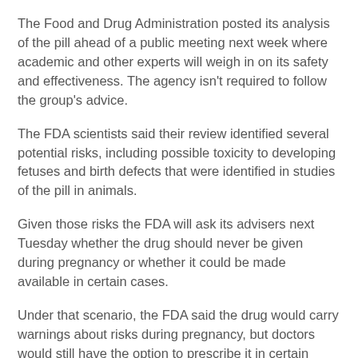The Food and Drug Administration posted its analysis of the pill ahead of a public meeting next week where academic and other experts will weigh in on its safety and effectiveness. The agency isn't required to follow the group's advice.
The FDA scientists said their review identified several potential risks, including possible toxicity to developing fetuses and birth defects that were identified in studies of the pill in animals.
Given those risks the FDA will ask its advisers next Tuesday whether the drug should never be given during pregnancy or whether it could be made available in certain cases.
Under that scenario, the FDA said the drug would carry warnings about risks during pregnancy, but doctors would still have the option to prescribe it in certain cases where its benefits could outweigh its risks for patients.
Given the safety concerns, FDA said Merck agreed the